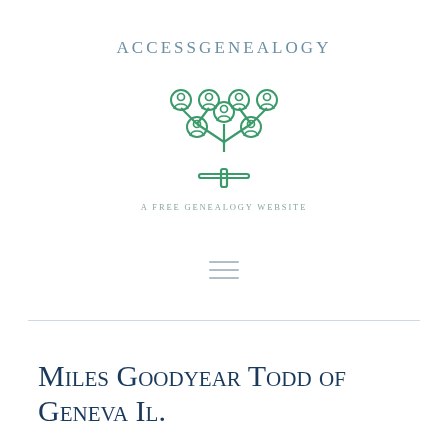[Figure (logo): AccessGenealogy logo: arched text 'AccessGenealogy' above a green family tree icon made of circular person silhouettes connected by lines, with tagline 'A Free Genealogy Website' below]
Miles Goodyear Todd of Geneva Il.